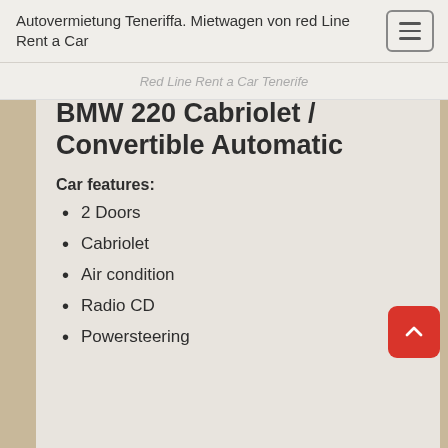Autovermietung Teneriffa. Mietwagen von red Line Rent a Car
Red Line Rent a Car Tenerife
BMW 220 Cabriolet / Convertible Automatic
Car features:
2 Doors
Cabriolet
Air condition
Radio CD
Powersteering